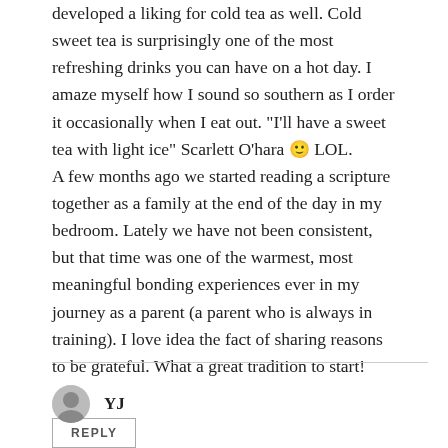developed a liking for cold tea as well. Cold sweet tea is surprisingly one of the most refreshing drinks you can have on a hot day. I amaze myself how I sound so southern as I order it occasionally when I eat out. "I'll have a sweet tea with light ice" Scarlett O'hara 🙂 LOL.
A few months ago we started reading a scripture together as a family at the end of the day in my bedroom. Lately we have not been consistent, but that time was one of the warmest, most meaningful bonding experiences ever in my journey as a parent (a parent who is always in training). I love idea the fact of sharing reasons to be grateful. What a great tradition to start!
REPLY
YJ